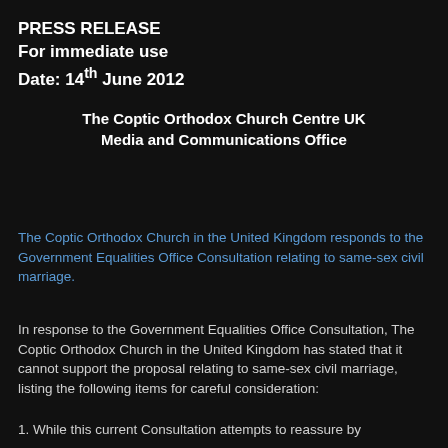PRESS RELEASE
For immediate use
Date: 14th June 2012
The Coptic Orthodox Church Centre UK
Media and Communications Office
The Coptic Orthodox Church in the United Kingdom responds to the Government Equalities Office Consultation relating to same-sex civil marriage.
In response to the Government Equalities Office Consultation, The Coptic Orthodox Church in the United Kingdom has stated that it cannot support the proposal relating to same-sex civil marriage, listing the following items for careful consideration:
1. While this current Consultation attempts to reassure by